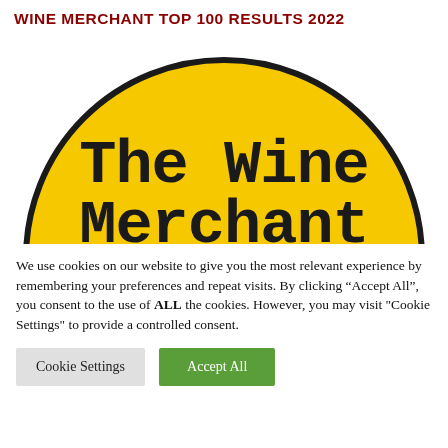WINE MERCHANT TOP 100 RESULTS 2022
[Figure (logo): The Wine Merchant logo: large yellow circle with thick black border, featuring 'The Wine Merchant' text in a bold typewriter-style font on yellow background, partially cropped at bottom]
We use cookies on our website to give you the most relevant experience by remembering your preferences and repeat visits. By clicking "Accept All", you consent to the use of ALL the cookies. However, you may visit "Cookie Settings" to provide a controlled consent.
Cookie Settings | Accept All